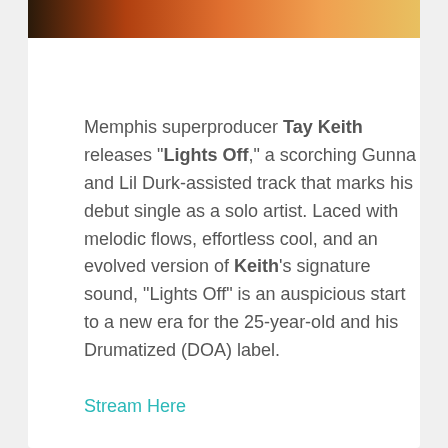[Figure (photo): Partial photo strip at top showing warm orange and brown tones, likely a music artist photo]
Memphis superproducer Tay Keith releases "Lights Off," a scorching Gunna and Lil Durk-assisted track that marks his debut single as a solo artist. Laced with melodic flows, effortless cool, and an evolved version of Keith's signature sound, "Lights Off" is an auspicious start to a new era for the 25-year-old and his Drumatized (DOA) label.
Stream Here